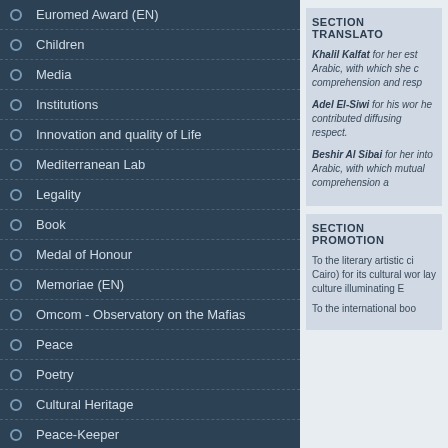Euromed Award (EN)
Children
Media
Institutions
Innovation and quality of Life
Mediterranean Lab
Legality
Book
Medal of Honour
Memoriae (EN)
Omcom - Observatory on the Mafias
Peace
Poetry
Cultural Heritage
Peace-Keeper
Sarajevo (EN)
Science and Research
Community Service
Civil Service
SECTION TRANSLATO
Khalil Kalfat for her est Arabic, with which she c comprehension and resp
Adel El-Siwi for his wor he contributed diffusing respect.
Beshir Al Sibai for her into Arabic, with which mutual comprehension a
SECTION PROMOTION
To the literary artistic ci Cairo) for its cultural wor lay culture illuminating E
To the international boo